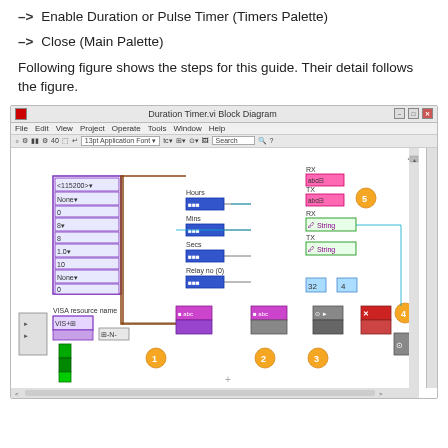-> Enable Duration or Pulse Timer (Timers Palette)
-> Close (Main Palette)
Following figure shows the steps for this guide. Their detail follows the figure.
[Figure (screenshot): Screenshot of LabVIEW Duration Timer.vi Block Diagram showing a block diagram with VISA resource configuration, Hours/Mins/Secs/Relay controls, RX/TX string indicators, and numbered step circles 1-5.]